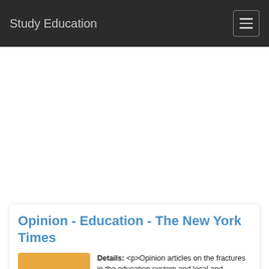Study Education
Opinion - Education - The New York Times
Details: <p>Opinion articles on the fractures in the education system and local and national efforts to fix them.